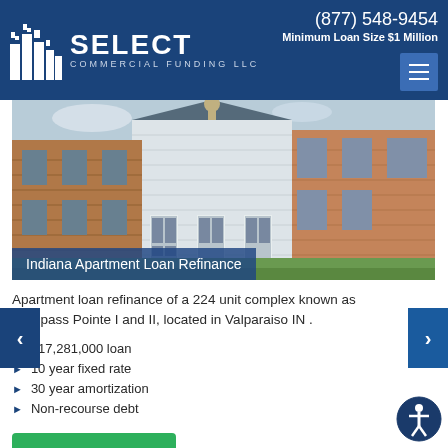(877) 548-9454 | Minimum Loan Size $1 Million | Select Commercial Funding LLC
[Figure (photo): Exterior view of a brick apartment complex showing multiple units with white doors and large windows, green lawn in front]
Indiana Apartment Loan Refinance
Apartment loan refinance of a 224 unit complex known as Compass Pointe I and II, located in Valparaiso IN .
$17,281,000 loan
10 year fixed rate
30 year amortization
Non-recourse debt